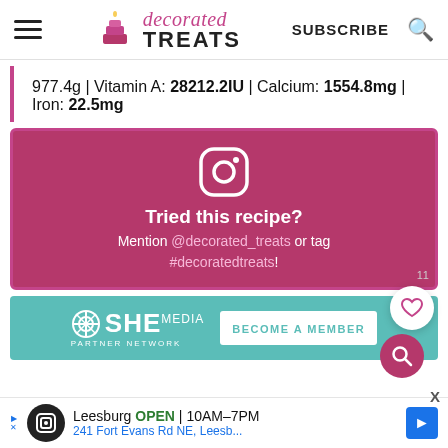decorated TREATS  SUBSCRIBE
977.4g | Vitamin A: 28212.2IU | Calcium: 1554.8mg | Iron: 22.5mg
[Figure (infographic): Instagram call-to-action card with pink/magenta background, Instagram camera icon, text: Tried this recipe? Mention @decorated_treats or tag #decoratedtreats!]
[Figure (infographic): SHE Media Partner Network teal banner with 'BECOME A MEMBER' button]
[Figure (infographic): Google ad banner for Leesburg business, shows address 241 Fort Evans Rd NE, hours OPEN 10AM-7PM]